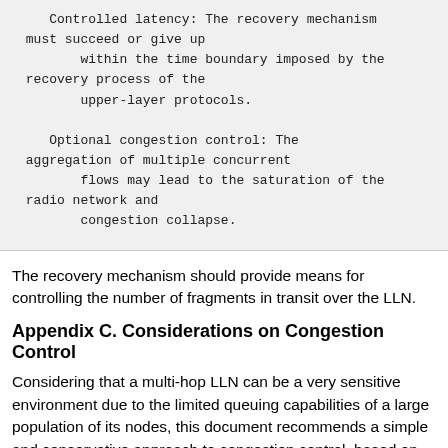Controlled latency:  The recovery mechanism must succeed or give up
        within the time boundary imposed by the recovery process of the
        upper-layer protocols.

    Optional congestion control:  The aggregation of multiple concurrent
        flows may lead to the saturation of the radio network and
        congestion collapse.
The recovery mechanism should provide means for controlling the number of fragments in transit over the LLN.
Appendix C. Considerations on Congestion Control
Considering that a multi-hop LLN can be a very sensitive environment due to the limited queuing capabilities of a large population of its nodes, this document recommends a simple and conservative approach to congestion control, based on TCP congestion avoidance...